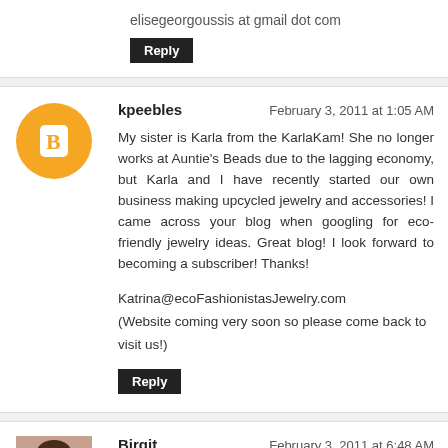elisegeorgoussis at gmail dot com
Reply
kpeebles
February 3, 2011 at 1:05 AM
My sister is Karla from the KarlaKam! She no longer works at Auntie's Beads due to the lagging economy, but Karla and I have recently started our own business making upcycled jewelry and accessories! I came across your blog when googling for eco-friendly jewelry ideas. Great blog! I look forward to becoming a subscriber! Thanks!
Katrina@ecoFashionistasJewelry.com
(Website coming very soon so please come back to visit us!)
Reply
Birgit
February 3, 2011 at 6:48 AM
Hi Pearl,
Oh, what wonderful items Auntie's Beads has... Thanks for